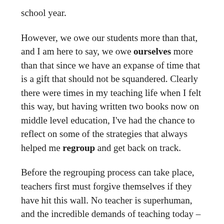school year.
However, we owe our students more than that, and I am here to say, we owe ourselves more than that since we have an expanse of time that is a gift that should not be squandered. Clearly there were times in my teaching life when I felt this way, but having written two books now on middle level education, I've had the chance to reflect on some of the strategies that always helped me regroup and get back on track.
Before the regrouping process can take place, teachers first must forgive themselves if they have hit this wall. No teacher is superhuman, and the incredible demands of teaching today – coupled with adolescent charges who find electronics, personal drama, and, at this time of year, spring fever more enthralling than a lesson on polygons – can be pretty overwhelming.